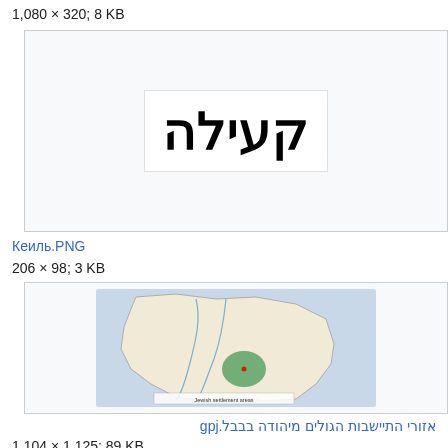1,080 × 320; 8 KB
[Figure (other): Hebrew text image showing קעילה in large bold font]
Кеиль.PNG
206 × 98; 3 KB
[Figure (map): Map of Iraq with a green highlighted region showing Jewish settlement areas from Babylonia]
אזורי התיישבות הגולים מיהודה בבבל.jpg
1,104 × 1,125; 89 KB